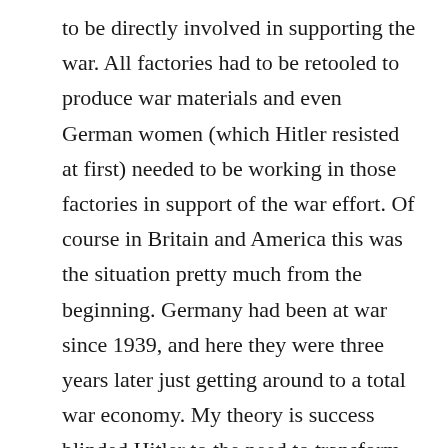to be directly involved in supporting the war. All factories had to be retooled to produce war materials and even German women (which Hitler resisted at first) needed to be working in those factories in support of the war effort. Of course in Britain and America this was the situation pretty much from the beginning. Germany had been at war since 1939, and here they were three years later just getting around to a total war economy. My theory is success blinded Hitler to the need to transform his economy. His victories had been swift against the allies in the beginning.